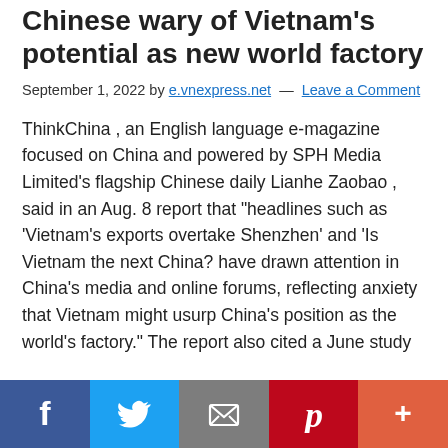Chinese wary of Vietnam's potential as new world factory
September 1, 2022 by e.vnexpress.net — Leave a Comment
ThinkChina , an English language e-magazine focused on China and powered by SPH Media Limited's flagship Chinese daily Lianhe Zaobao , said in an Aug. 8 report that "headlines such as 'Vietnam's exports overtake Shenzhen' and 'Is Vietnam the next China? have drawn attention in China's media and online forums, reflecting anxiety that Vietnam might usurp China's position as the world's factory." The report also cited a June study